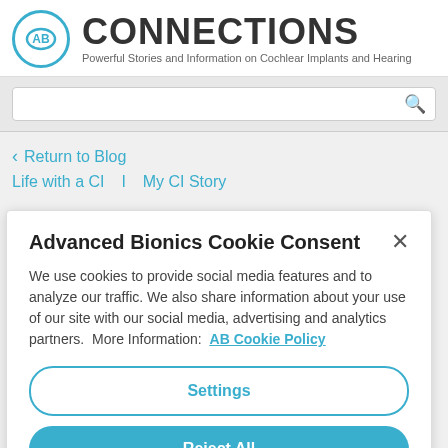CONNECTIONS – Powerful Stories and Information on Cochlear Implants and Hearing
< Return to Blog
Life with a CI  |  My CI Story
Advanced Bionics Cookie Consent
We use cookies to provide social media features and to analyze our traffic. We also share information about your use of our site with our social media, advertising and analytics partners. More Information: AB Cookie Policy
Settings
Reject All